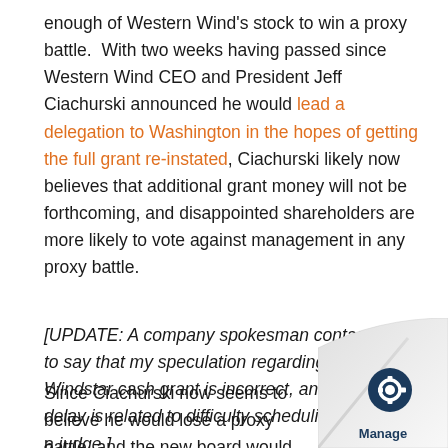enough of Western Wind's stock to win a proxy battle.  With two weeks having passed since Western Wind CEO and President Jeff Ciachurski announced he would lead a delegation to Washington in the hopes of getting the full grant re-instated, Ciachurski likely now believes that additional grant money will not be forthcoming, and disappointed shareholders are more likely to vote against management in any proxy battle.
[UPDATE: A company spokesman contacted me to say that my speculation regarding the Windstar cash grant is incorrect, and that the delay is related to difficulty scheduling time with a judge.]
Since Ciachurski now seems to believe he would lose a proxy battle, and the new board would be likely to put the company up for sale anyway, he has decided to st…
[Figure (logo): Manage logo with page curl effect in bottom-right corner]